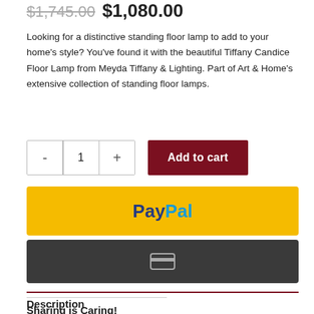$1,745.00 $1,080.00
Looking for a distinctive standing floor lamp to add to your home's style? You've found it with the beautiful Tiffany Candice Floor Lamp from Meyda Tiffany & Lighting. Part of Art & Home's extensive collection of standing floor lamps.
[Figure (screenshot): Add to cart quantity selector with minus, 1, plus buttons and dark red Add to cart button]
[Figure (screenshot): PayPal payment button - yellow background with PayPal logo text]
[Figure (screenshot): Dark gray payment button with credit card icon]
Sharing is Caring!
[Figure (screenshot): Social sharing icons: Twitter (blue), Pinterest (red, badge 1), Facebook (blue), Reddit (light gray)]
Description